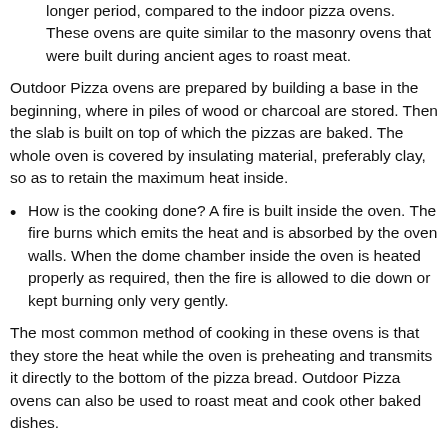longer period, compared to the indoor pizza ovens. These ovens are quite similar to the masonry ovens that were built during ancient ages to roast meat.
Outdoor Pizza ovens are prepared by building a base in the beginning, where in piles of wood or charcoal are stored. Then the slab is built on top of which the pizzas are baked. The whole oven is covered by insulating material, preferably clay, so as to retain the maximum heat inside.
How is the cooking done? A fire is built inside the oven. The fire burns which emits the heat and is absorbed by the oven walls. When the dome chamber inside the oven is heated properly as required, then the fire is allowed to die down or kept burning only very gently.
The most common method of cooking in these ovens is that they store the heat while the oven is preheating and transmits it directly to the bottom of the pizza bread. Outdoor Pizza ovens can also be used to roast meat and cook other baked dishes.
Though most of these ovens are built on traditional technologies, the modern Outdoor pizza ovens are often fired using natural gas or electricity.
Outdoor Pizza oven tools: The tools used while cooking